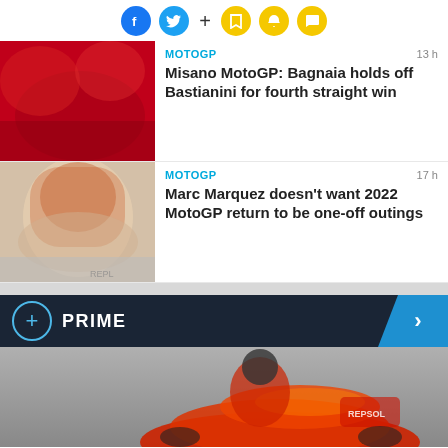[Figure (infographic): Social sharing icons: Facebook (blue), Twitter (cyan), plus sign, bookmark, bell, chat bubble (yellow)]
[Figure (photo): Ducati team celebration photo with riders and crew in red uniforms]
MOTOGP   13 h
Misano MotoGP: Bagnaia holds off Bastianini for fourth straight win
[Figure (photo): Marc Marquez portrait wearing racing helmet, blurred background]
MOTOGP   17 h
Marc Marquez doesn't want 2022 MotoGP return to be one-off outings
PRIME
[Figure (photo): MotoGP rider on Honda Repsol motorcycle on track]